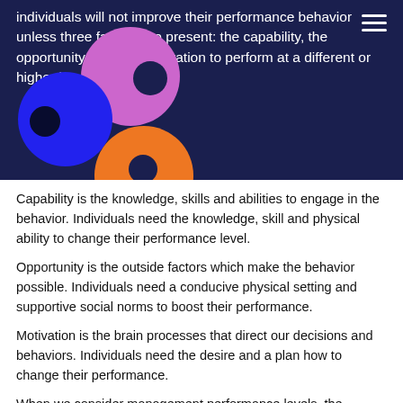individuals will not improve their performance behavior unless three factors are present: the capability, the opportunity, and the motivation to perform at a different or higher level.
[Figure (illustration): Three overlapping colored circles (Venn diagram style): purple, blue, and orange, each with a dark inner circle, on a dark navy background. Hamburger menu icon in top right.]
Capability is the knowledge, skills and abilities to engage in the behavior. Individuals need the knowledge, skill and physical ability to change their performance level.
Opportunity is the outside factors which make the behavior possible. Individuals need a conducive physical setting and supportive social norms to boost their performance.
Motivation is the brain processes that direct our decisions and behaviors. Individuals need the desire and a plan how to change their performance.
When we consider management performance levels, the